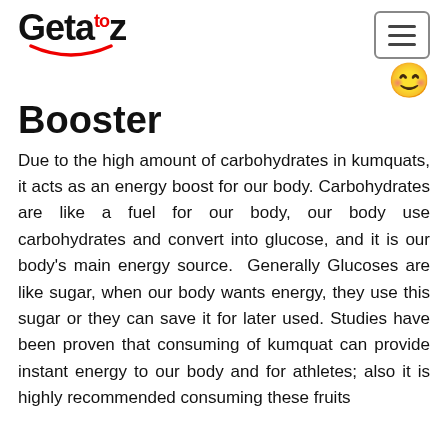Geta'toz logo with hamburger menu
Booster
Due to the high amount of carbohydrates in kumquats, it acts as an energy boost for our body. Carbohydrates are like a fuel for our body, our body use carbohydrates and convert into glucose, and it is our body's main energy source. Generally Glucoses are like sugar, when our body wants energy, they use this sugar or they can save it for later used. Studies have been proven that consuming of kumquat can provide instant energy to our body and for athletes; also it is highly recommended consuming these fruits